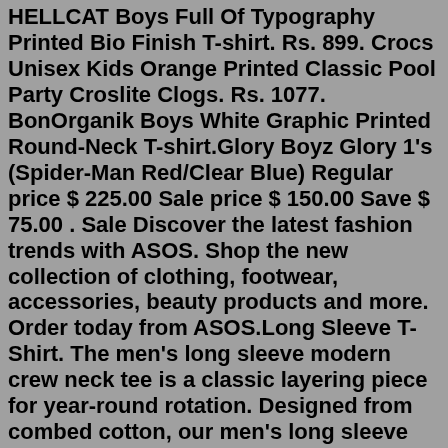HELLCAT Boys Full Of Typography Printed Bio Finish T-shirt. Rs. 899. Crocs Unisex Kids Orange Printed Classic Pool Party Croslite Clogs. Rs. 1077. BonOrganik Boys White Graphic Printed Round-Neck T-shirt.Glory Boyz Glory 1's (Spider-Man Red/Clear Blue) Regular price $ 225.00 Sale price $ 150.00 Save $ 75.00 . Sale Discover the latest fashion trends with ASOS. Shop the new collection of clothing, footwear, accessories, beauty products and more. Order today from ASOS.Long Sleeve T-Shirt. The men's long sleeve modern crew neck tee is a classic layering piece for year-round rotation. Designed from combed cotton, our men's long sleeve tee is soft to the touch and perfectly comfortable for all-day wear. The unfinished neckline adds a contemporary look that pairs well with a classic slim fit. Effortless basics and iconic fashion favorites for women, men and kids. The original basic, from tees to hoodies, denim and more.Vans Classic Raglan Boys Long Sleeve T-Shirt - White Black. £12.95 £24.00 (Save 46%) sale.Cute Kawaii Cartoon Lion Boy Kids